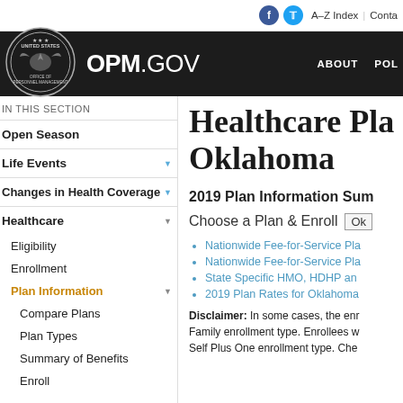f  t  A–Z Index | Conta
OPM.GOV  ABOUT  POL
IN THIS SECTION
Open Season
Life Events
Changes in Health Coverage
Healthcare
Eligibility
Enrollment
Plan Information
Compare Plans
Plan Types
Summary of Benefits
Enroll
Healthcare Plans Oklahoma
2019 Plan Information Summary
Choose a Plan & Enroll  Ok
Nationwide Fee-for-Service Pla
Nationwide Fee-for-Service Pla
State Specific HMO, HDHP an
2019 Plan Rates for Oklahoma
Disclaimer: In some cases, the enrollment type. Family enrollment type. Enrollees w Self Plus One enrollment type. Che